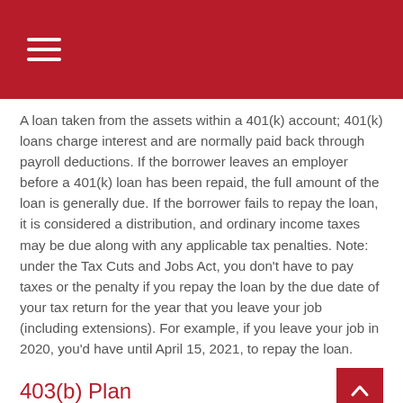A loan taken from the assets within a 401(k) account; 401(k) loans charge interest and are normally paid back through payroll deductions. If the borrower leaves an employer before a 401(k) loan has been repaid, the full amount of the loan is generally due. If the borrower fails to repay the loan, it is considered a distribution, and ordinary income taxes may be due along with any applicable tax penalties. Note: under the Tax Cuts and Jobs Act, you don't have to pay taxes or the penalty if you repay the loan by the due date of your tax return for the year that you leave your job (including extensions). For example, if you leave your job in 2020, you'd have until April 15, 2021, to repay the loan.
403(b) Plan
A 403(b) plan is similar to a 401(k). A 403(b) is a qualified